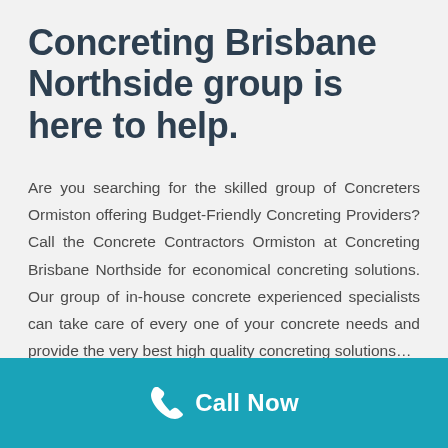Concreting Brisbane Northside group is here to help.
Are you searching for the skilled group of Concreters Ormiston offering Budget-Friendly Concreting Providers? Call the Concrete Contractors Ormiston at Concreting Brisbane Northside for economical concreting solutions. Our group of in-house concrete experienced specialists can take care of every one of your concrete needs and provide the very best high quality concreting solutions…
Call Now